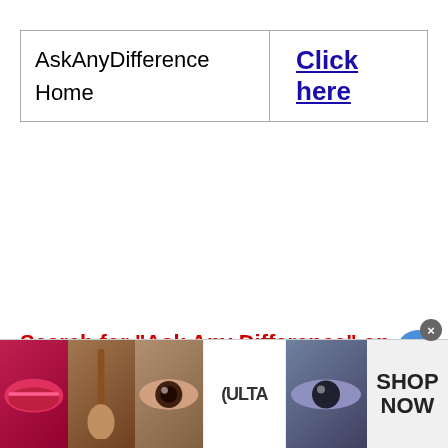| AskAnyDifference
Home | Click here |
Search for "Ask Any Difference" on Google. Rate this post!
[Total: 0]
Table of Contents
1. LED Lights vs Fluorescent
[Figure (screenshot): Advertisement banner with makeup/beauty images and ULTA logo with SHOP NOW text]